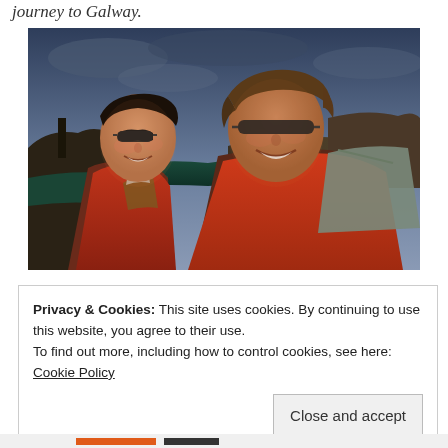journey to Galway.
[Figure (photo): Two people smiling at the camera outdoors at the Cliffs of Moher, Ireland. Both wearing red jackets and sunglasses. Rocky sea cliffs and ocean visible in the background under a cloudy sky.]
Privacy & Cookies: This site uses cookies. By continuing to use this website, you agree to their use.
To find out more, including how to control cookies, see here: Cookie Policy
Close and accept